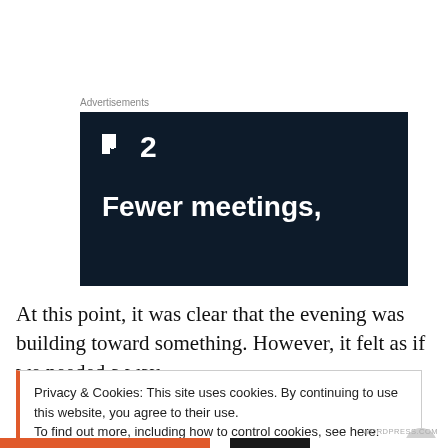Advertisements
[Figure (screenshot): Dark navy advertisement banner with white logo showing two squares and the number 2, with bold white text reading 'Fewer meetings,']
At this point, it was clear that the evening was building toward something. However, it felt as if we needed a way
Privacy & Cookies: This site uses cookies. By continuing to use this website, you agree to their use.
To find out more, including how to control cookies, see here: Cookie Policy
Close and accept